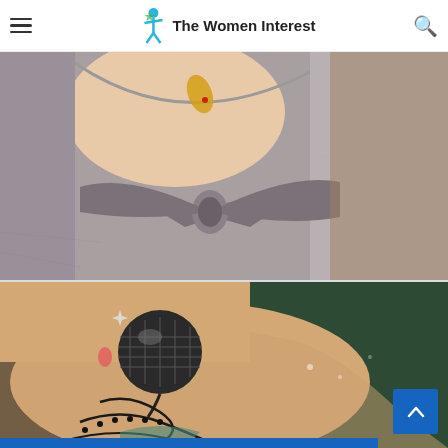The Women Interest
[Figure (photo): Close-up of a person wearing a grey knit/tweed strapless top with a large bow tie detail at the front center, showing chest and collarbone area with a small yellow tattoo visible near the neckline. Background shows a textured brown/grey carpet.]
[Figure (photo): Close-up of a person's ankle and foot showing an elaborate tattoo depicting a decorative black and grey design resembling a disco ball with ornate swirling details and lace-like patterns, with a small pink/red teardrop element. Background is dark green fabric.]